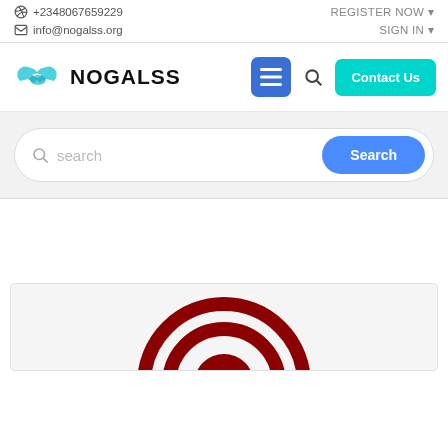+2348067659229  info@nogalss.org  REGISTER NOW  SIGN IN
[Figure (logo): NOGALSS logo with handshake icon in teal/blue and bold text NOGALSS]
Contact Us
[Figure (screenshot): Search bar with placeholder text 'search' and a blue rounded Search button on a light grey background]
[Figure (illustration): Partial view of a circular target/bullseye icon in dark red/maroon at the bottom of the page]